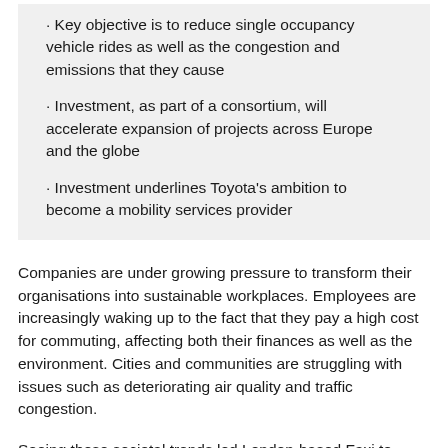· Key objective is to reduce single occupancy vehicle rides as well as the congestion and emissions that they cause
· Investment, as part of a consortium, will accelerate expansion of projects across Europe and the globe
· Investment underlines Toyota's ambition to become a mobility services provider
Companies are under growing pressure to transform their organisations into sustainable workplaces. Employees are increasingly waking up to the fact that they pay a high cost for commuting, affecting both their finances as well as the environment. Cities and communities are struggling with issues such as deteriorating air quality and traffic congestion.
Seeing these societal trends led London-based Faxi to